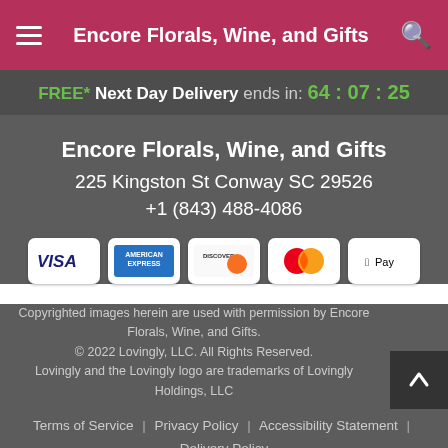Encore Florals, Wine, and Gifts
FREE* Next Day Delivery ends in: 64:07:25
Encore Florals, Wine, and Gifts
225 Kingston St Conway SC 29526
+1 (843) 488-4086
[Figure (infographic): Payment method icons: VISA, American Express, Discover, Mastercard, Apple Pay]
Copyrighted images herein are used with permission by Encore Florals, Wine, and Gifts. © 2022 Lovingly, LLC. All Rights Reserved. Lovingly and the Lovingly logo are trademarks of Lovingly Holdings, LLC
Terms of Service | Privacy Policy | Accessibility Statement | Delivery Policy